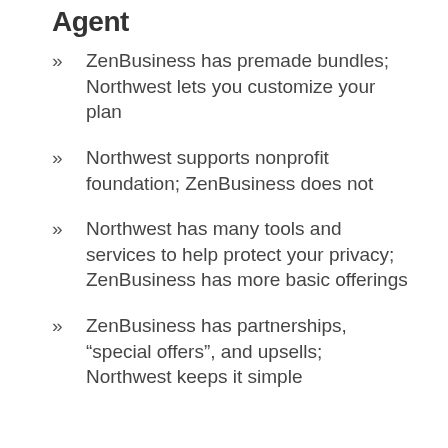Agent
ZenBusiness has premade bundles; Northwest lets you customize your plan
Northwest supports nonprofit foundation; ZenBusiness does not
Northwest has many tools and services to help protect your privacy; ZenBusiness has more basic offerings
ZenBusiness has partnerships, “special offers”, and upsells; Northwest keeps it simple